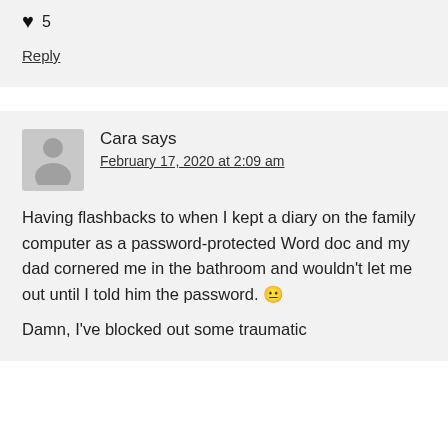❤ 5
Reply
Cara says
February 17, 2020 at 2:09 am
Having flashbacks to when I kept a diary on the family computer as a password-protected Word doc and my dad cornered me in the bathroom and wouldn't let me out until I told him the password. 😐
Damn, I've blocked out some traumatic